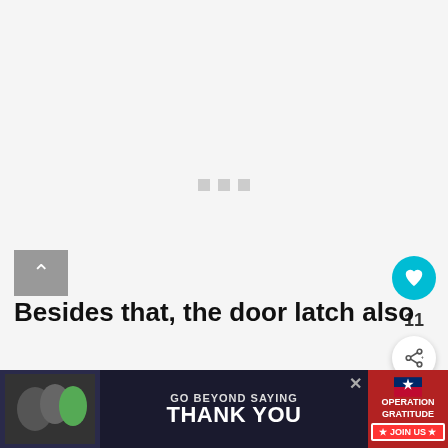[Figure (screenshot): Light gray loading placeholder area with three small gray squares (loading dots) in the center]
11
Besides that, the door latch also
WHAT'S NEXT → Frigidaire Dishwasher...
[Figure (photo): Advertisement banner: GO BEYOND SAYING THANK YOU — Operation Gratitude, JOIN US]
ensures mid-